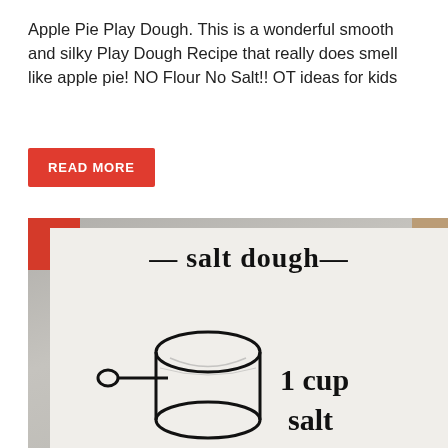Apple Pie Play Dough. This is a wonderful smooth and silky Play Dough Recipe that really does smell like apple pie! NO Flour No Salt!! OT ideas for kids
READ MORE
[Figure (photo): Photo of a handwritten 'salt dough' recipe card on white paper, showing the title '- salt dough -' in large handwritten letters, and a drawing of a measuring cup with the text '1 cup salt' next to it. A red clip is visible at the top left corner and a brown tape piece at top right.]